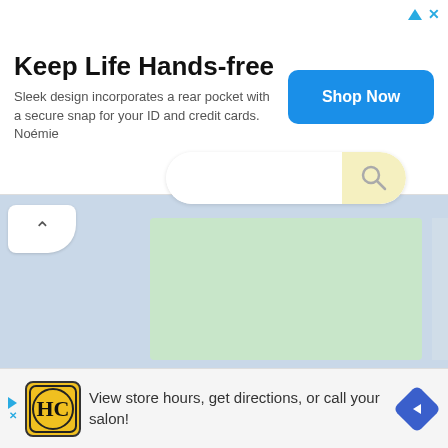[Figure (screenshot): Top advertisement banner: 'Keep Life Hands-free' with 'Shop Now' blue button. Sleek design text. Ad icon triangle and X close button.]
[Figure (screenshot): Main browser content area with light blue background, white chevron back button, large green card with a search bar (white input with yellow magnifying glass icon), and right scrollbar.]
[Figure (screenshot): Bottom advertisement: HC (Haircutters) logo in yellow, text 'View store hours, get directions, or call your salon!' with blue navigation diamond arrow icon.]